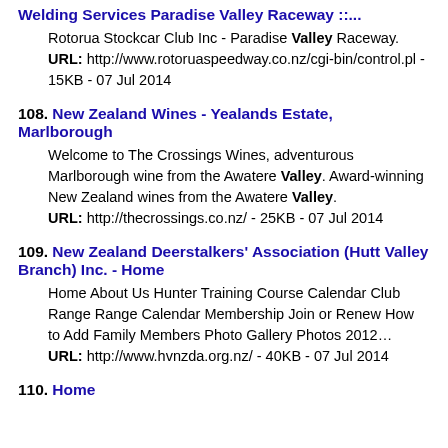Welding Services Paradise Valley Raceway ::...
Rotorua Stockcar Club Inc - Paradise Valley Raceway.
URL: http://www.rotoruaspeedway.co.nz/cgi-bin/control.pl - 15KB - 07 Jul 2014
108. New Zealand Wines - Yealands Estate, Marlborough
Welcome to The Crossings Wines, adventurous Marlborough wine from the Awatere Valley. Award-winning New Zealand wines from the Awatere Valley.
URL: http://thecrossings.co.nz/ - 25KB - 07 Jul 2014
109. New Zealand Deerstalkers' Association (Hutt Valley Branch) Inc. - Home
Home About Us Hunter Training Course Calendar Club Range Range Calendar Membership Join or Renew How to Add Family Members Photo Gallery Photos 2012...
URL: http://www.hvnzda.org.nz/ - 40KB - 07 Jul 2014
110. Home